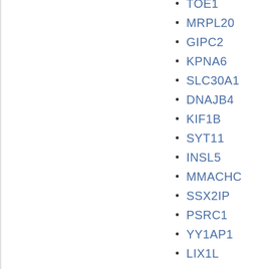TOE1
MRPL20
GIPC2
KPNA6
SLC30A1
DNAJB4
KIF1B
SYT11
INSL5
MMACHC
SSX2IP
PSRC1
YY1AP1
LIX1L